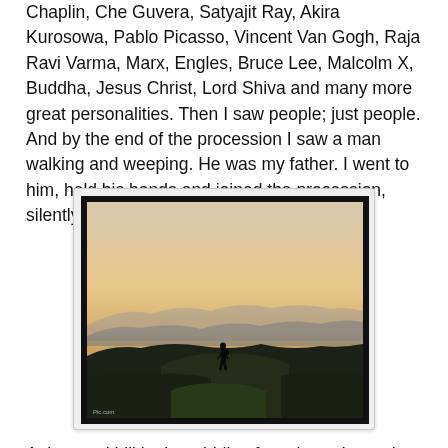Chaplin, Che Guvera, Satyajit Ray, Akira Kurosowa, Pablo Picasso, Vincent Van Gogh, Raja Ravi Varma, Marx, Engles, Bruce Lee, Malcolm X, Buddha, Jesus Christ, Lord Shiva and many more great personalities. Then I saw people; just people. And by the end of the procession I saw a man walking and weeping. He was my father. I went to him, held his hands and joined the procession, silently.
[Figure (photo): A silhouette of a lone person standing on a deserted hill against a warm golden sunset sky, with mountain ridges visible in the background. A small watermark/caption appears in the bottom left corner of the image.]
A deserted hill in the middle of nowhere. I saw the silhouette of a man standing alone. I climbed the hill to see who he was. He was standing against the setting sun at the horizon